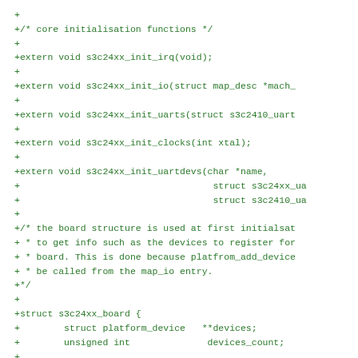+
+/* core initialisation functions */
+
+extern void s3c24xx_init_irq(void);
+
+extern void s3c24xx_init_io(struct map_desc *mach_
+
+extern void s3c24xx_init_uarts(struct s3c2410_uart
+
+extern void s3c24xx_init_clocks(int xtal);
+
+extern void s3c24xx_init_uartdevs(char *name,
+                                   struct s3c24xx_ua
+                                   struct s3c2410_ua
+
+/* the board structure is used at first initialsat
+ * to get info such as the devices to register for
+ * board. This is done because platfrom_add_device
+ * be called from the map_io entry.
+*/
+
+struct s3c24xx_board {
+        struct platform_device   **devices;
+        unsigned int              devices_count;
+
+        struct clk               **clocks;